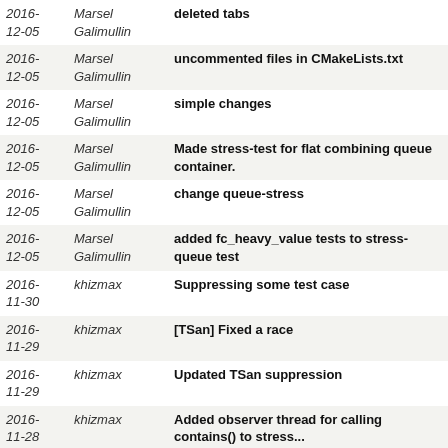| Date | Author | Message |
| --- | --- | --- |
| 2016-12-05 | Marsel Galimullin | deleted tabs |
| 2016-12-05 | Marsel Galimullin | uncommented files in CMakeLists.txt |
| 2016-12-05 | Marsel Galimullin | simple changes |
| 2016-12-05 | Marsel Galimullin | Made stress-test for flat combining queue container. |
| 2016-12-05 | Marsel Galimullin | change queue-stress |
| 2016-12-05 | Marsel Galimullin | added fc_heavy_value tests to stress-queue test |
| 2016-11-30 | khizmax | Suppressing some test case |
| 2016-11-29 | khizmax | [TSan] Fixed a race |
| 2016-11-29 | khizmax | Updated TSan suppression |
| 2016-11-28 | khizmax | Added observer thread for calling contains() to stress... |
| 2016-11-26 | khizmax | Fixed thread launching in stress test framework |
| 2016-11-15 | khizmax | Merge commit 'c3352315d3563a201433837b0932bba249344f67... |
| 2016-11-14 | khizmax | Removed unused local typedefs |
| 2016- | khizmax | Fixed explicit ctor bugs in stress tests |